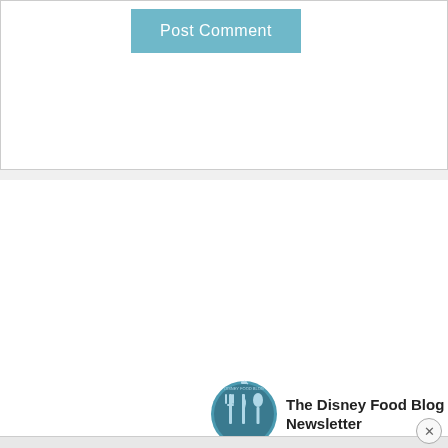Post Comment
[Figure (logo): The Disney Food Blog Newsletter logo — circular dark teal icon with fork, knife, and spoon silhouettes, with text 'The Disney Food Blog Newsletter' to the right]
Sign up to receive news,tips,offers and other great Disney food information.
First Name:
Email:
Subscribe